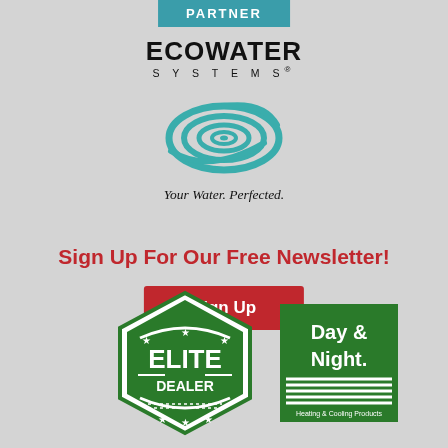[Figure (logo): PARTNER badge - teal/blue background with white text]
[Figure (logo): EcoWater Systems logo with teal spiral/water drop graphic and tagline 'Your Water. Perfected.']
Sign Up For Our Free Newsletter!
Sign Up
[Figure (logo): Elite Dealer badge - green diamond/shield shape with stars and 'ELITE DEALER' text]
[Figure (logo): Day & Night Heating & Cooling Products logo - green rectangle with white text]